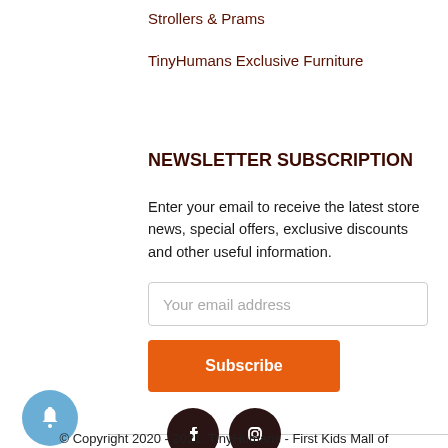Strollers & Prams
TinyHumans Exclusive Furniture
NEWSLETTER SUBSCRIPTION
Enter your email to receive the latest store news, special offers, exclusive discounts and other useful information.
Your email address
Subscribe
[Figure (illustration): Blue circular bell notification icon on the left, with a horizontal gray divider line extending to the right]
[Figure (illustration): Two dark circular social media icons: Facebook (f) and Instagram (camera)]
© Copyright 2020 - 2021, TinyHumans - First Kids Mall of